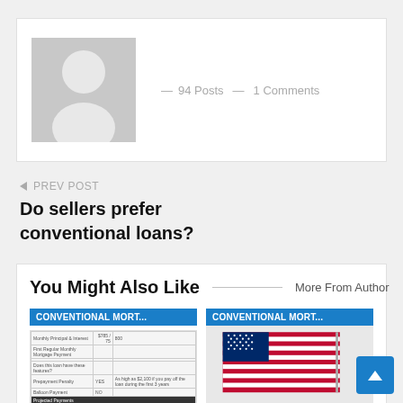[Figure (illustration): Grey avatar placeholder image of a person silhouette]
- 94 Posts  - 1 Comments
← PREV POST
Do sellers prefer conventional loans?
You Might Also Like
More From Author
[Figure (screenshot): Thumbnail image of a conventional mortgage document/table with blue CONVENTIONAL MORT... badge]
[Figure (photo): Thumbnail image of an American flag with blue CONVENTIONAL MORT... badge]